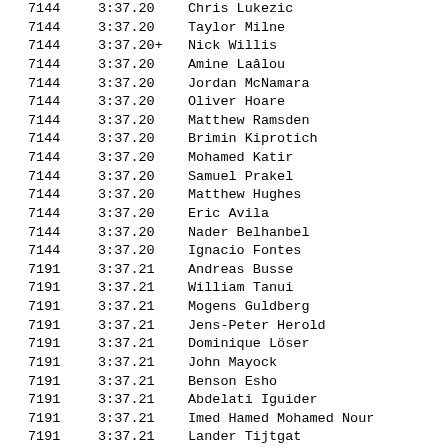| Rank | Time | Name |
| --- | --- | --- |
| 7144 | 3:37.20 | Chris Lukezic |
| 7144 | 3:37.20 | Taylor Milne |
| 7144 | 3:37.20+ | Nick Willis |
| 7144 | 3:37.20 | Amine Laâlou |
| 7144 | 3:37.20 | Jordan McNamara |
| 7144 | 3:37.20 | Oliver Hoare |
| 7144 | 3:37.20 | Matthew Ramsden |
| 7144 | 3:37.20 | Brimin Kiprotich |
| 7144 | 3:37.20 | Mohamed Katir |
| 7144 | 3:37.20 | Samuel Prakel |
| 7144 | 3:37.20 | Matthew Hughes |
| 7144 | 3:37.20 | Eric Avila |
| 7144 | 3:37.20 | Nader Belhanbel |
| 7144 | 3:37.20 | Ignacio Fontes |
| 7191 | 3:37.21 | Andreas Busse |
| 7191 | 3:37.21 | William Tanui |
| 7191 | 3:37.21 | Mogens Guldberg |
| 7191 | 3:37.21 | Jens-Peter Herold |
| 7191 | 3:37.21 | Dominique Löser |
| 7191 | 3:37.21 | John Mayock |
| 7191 | 3:37.21 | Benson Esho |
| 7191 | 3:37.21 | Abdelati Iguider |
| 7191 | 3:37.21 | Imed Hamed Mohamed Nour |
| 7191 | 3:37.21 | Lander Tijtgat |
| 7191 | 3:37.21 | Mekonnen Gebremedhin |
| 7191 | 3:37.21 | Otmane Belharbazi |
| 7191 | 3:37.21 | Llorenc Sales |
| 7191 | 3:37.21 | Benson Seurei |
| 7191 | 3:37.21 | Charles Philibert-Thiboutot |
| 7191 | 3:37.21 | Filip Sasinek |
| 7191 | 3:37.21 | ... |